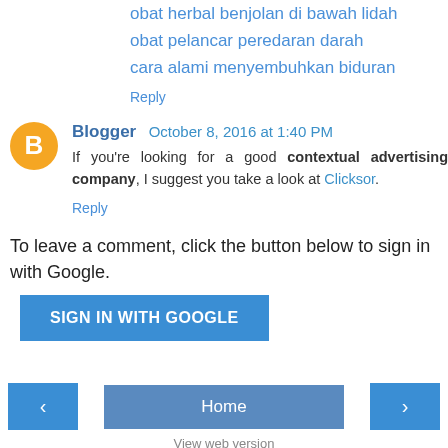obat herbal benjolan di bawah lidah
obat pelancar peredaran darah
cara alami menyembuhkan biduran
Reply
Blogger  October 8, 2016 at 1:40 PM
If you're looking for a good contextual advertising company, I suggest you take a look at Clicksor.
Reply
To leave a comment, click the button below to sign in with Google.
[Figure (other): SIGN IN WITH GOOGLE button]
[Figure (other): Navigation bar with left arrow, Home button, and right arrow]